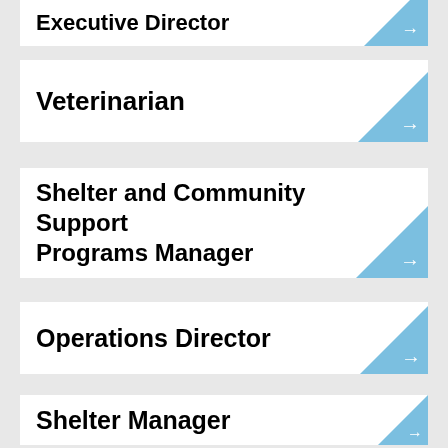Executive Director
Veterinarian
Shelter and Community Support Programs Manager
Operations Director
Shelter Manager